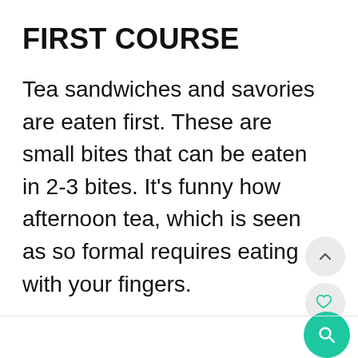FIRST COURSE
Tea sandwiches and savories are eaten first. These are small bites that can be eaten in 2-3 bites. It’s funny how afternoon tea, which is seen as so formal requires eating with your fingers.